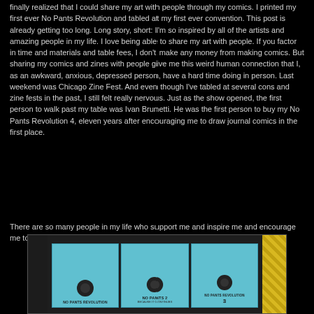finally realized that I could share my art with people through my comics. I printed my first ever No Pants Revolution and tabled at my first ever convention. This post is already getting too long. Long story, short: I'm so inspired by all of the artists and amazing people in my life. I love being able to share my art with people. If you factor in time and materials and table fees, I don't make any money from making comics. But sharing my comics and zines with people give me this weird human connection that I, as an awkward, anxious, depressed person, have a hard time doing in person. Last weekend was Chicago Zine Fest. And even though I've tabled at several cons and zine fests in the past, I still felt really nervous. Just as the show opened, the first person to walk past my table was Ivan Brunetti. He was the first person to buy my No Pants Revolution 4, eleven years after encouraging me to draw journal comics in the first place.
There are so many people in my life who support me and inspire me and encourage me to continue. Thank you guys so much.
[Figure (photo): Photo of three blue comic book/zine covers: 'No Pants Revolution', 'No Pants 2', and 'No Pants Revolution 3', displayed side by side on a dark background with yellow patterned fabric visible at the right edge.]